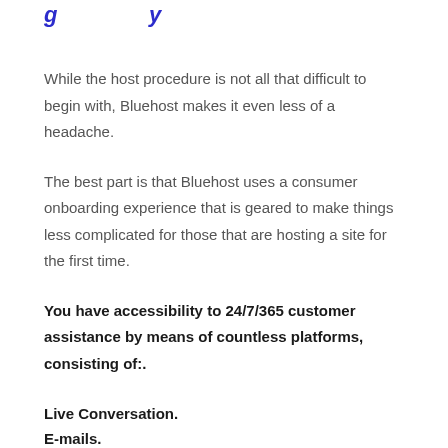g y
While the host procedure is not all that difficult to begin with, Bluehost makes it even less of a headache.
The best part is that Bluehost uses a consumer onboarding experience that is geared to make things less complicated for those that are hosting a site for the first time.
You have accessibility to 24/7/365 customer assistance by means of countless platforms, consisting of:.
Live Conversation.
E-mails.
Ticketing System.
Phone Calls.
Social Network Assistance.
Their phone support option is the easiest means to get in